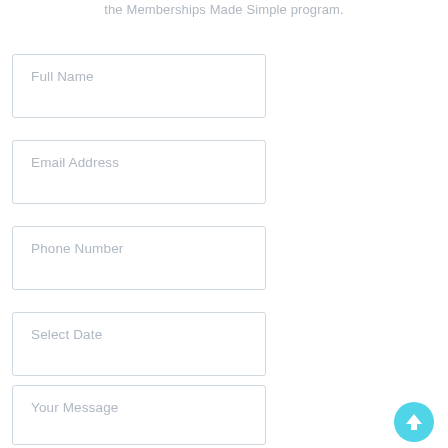the Memberships Made Simple program.
Full Name
Email Address
Phone Number
Select Date
Your Message
[Figure (illustration): Cyan/turquoise circular scroll-to-top button with white upward arrow icon]